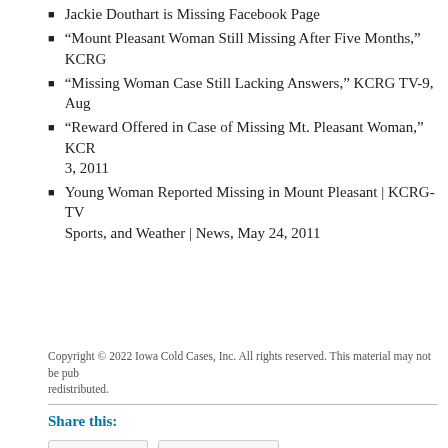Jackie Douthart is Missing Facebook Page
“Mount Pleasant Woman Still Missing After Five Months,” KCRG
“Missing Woman Case Still Lacking Answers,” KCRG TV-9, Aug
“Reward Offered in Case of Missing Mt. Pleasant Woman,” KCR 3, 2011
Young Woman Reported Missing in Mount Pleasant | KCRG-TV Sports, and Weather | News, May 24, 2011
Copyright © 2022 Iowa Cold Cases, Inc. All rights reserved. This material may not be pub redistributed.
Share this:
Twitter
Facebook
Tagged with: Ben Biggs • Benjamin Biggs • Bonaparte IA • Brent Bradley • Cold Ca Pennington • Henry County IA • Iowa Cold Cases • Iowa Division of Criminal Inves Jackie Douthart • Jackie Leigh Douthart • Jeff Uhlmeyer • Jennifer Sanchez • Jose Michael Syperda • Mount Pleasant IA • Mount Pleasant Police Department • Rew Walker • Unsolved Iowa Murders • Unsolved Murders in Henry County IA • Unsolv